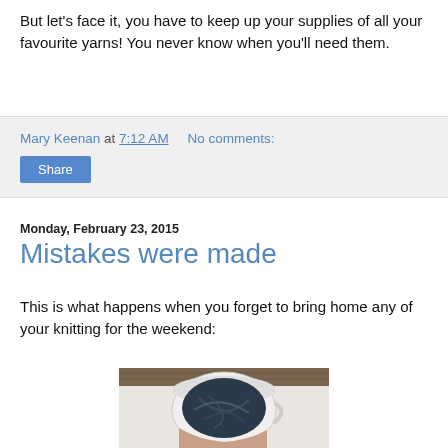But let's face it, you have to keep up your supplies of all your favourite yarns! You never know when you'll need them.
Mary Keenan at 7:12 AM   No comments:
Share
Monday, February 23, 2015
Mistakes were made
This is what happens when you forget to bring home any of your knitting for the weekend:
[Figure (photo): A person holding a large mug/bowl containing dark blue yarn, viewed from above, on a white surface with wooden background.]